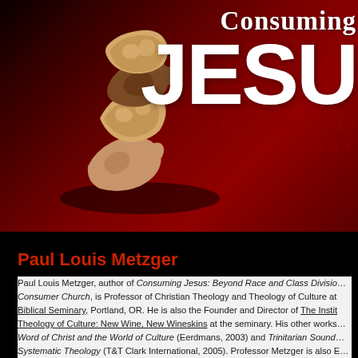[Figure (illustration): Book cover image for 'Consuming Jesus: Beyond Race and Class Divisions in a Consumer Church'. Dark red/maroon background with hands breaking bread in the center-left, large white text 'Consuming JESUS' on the right, and subtitle 'Beyond Race and... In a C...' in dark red serif caps.]
Paul Louis Metzger
Paul Louis Metzger, author of Consuming Jesus: Beyond Race and Class Divisions in a Consumer Church, is Professor of Christian Theology and Theology of Culture at Biblical Seminary, Portland, OR. He is also the Founder and Director of The Institute for Theology of Culture: New Wine, New Wineskins at the seminary. His other works include Word of Christ and the World of Culture (Eerdmans, 2003) and Trinitarian Soundings in Systematic Theology (T&T Clark International, 2005). Professor Metzger is also Editor of Cultural Encounters: A Journal for the Theology of Culture.